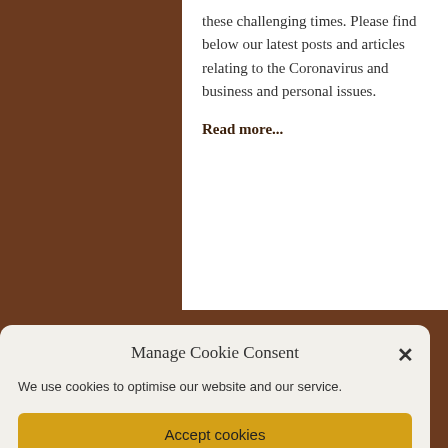these challenging times. Please find below our latest posts and articles relating to the Coronavirus and business and personal issues.
Read more...
Manage Cookie Consent
We use cookies to optimise our website and our service.
Accept cookies
Deny
View preferences
How We Use Cookies   Information Notice and Security Policy